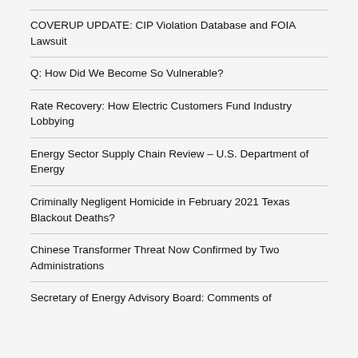COVERUP UPDATE: CIP Violation Database and FOIA Lawsuit
Q: How Did We Become So Vulnerable?
Rate Recovery: How Electric Customers Fund Industry Lobbying
Energy Sector Supply Chain Review – U.S. Department of Energy
Criminally Negligent Homicide in February 2021 Texas Blackout Deaths?
Chinese Transformer Threat Now Confirmed by Two Administrations
Secretary of Energy Advisory Board: Comments of